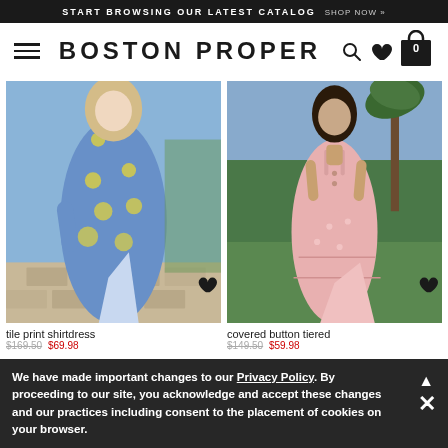START BROWSING OUR LATEST CATALOG  SHOP NOW »
BOSTON PROPER
[Figure (photo): Model wearing a blue and yellow floral tile print shirtdress, walking outdoors on a stone path]
[Figure (photo): Model wearing a pink covered button tiered eyelet midi dress, standing outdoors on grass with palm trees in background]
tile print shirtdress
covered button tiered eyelet midi dress
$169.50 $69.98
$149.50 $59.98
We have made important changes to our Privacy Policy. By proceeding to our site, you acknowledge and accept these changes and our practices including consent to the placement of cookies on your browser.